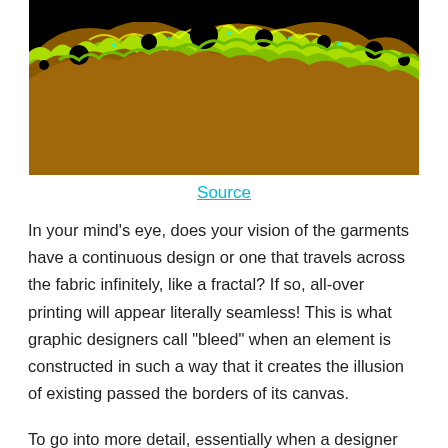[Figure (photo): Fractal image showing a Mandelbrot set with black background and colorful fractal patterns in green, yellow, and orange hues along the edges.]
Source
In your mind's eye, does your vision of the garments have a continuous design or one that travels across the fabric infinitely, like a fractal? If so, all-over printing will appear literally seamless! This is what graphic designers call “bleed” when an element is constructed in such a way that it creates the illusion of existing passed the borders of its canvas.
To go into more detail, essentially when a designer